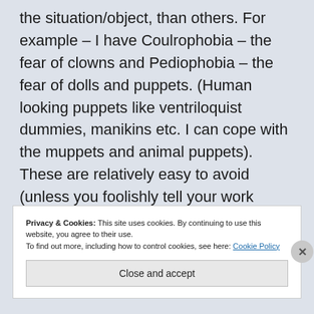the situation/object, than others. For example – I have Coulrophobia – the fear of clowns and Pediophobia – the fear of dolls and puppets. (Human looking puppets like ventriloquist dummies, manikins etc. I can cope with the muppets and animal puppets). These are relatively easy to avoid (unless you foolishly tell your work colleagues and they all come in as evil dolls and clowns for Halloween.) 12 % of Brits have a fear of clowns.
Privacy & Cookies: This site uses cookies. By continuing to use this website, you agree to their use.
To find out more, including how to control cookies, see here: Cookie Policy